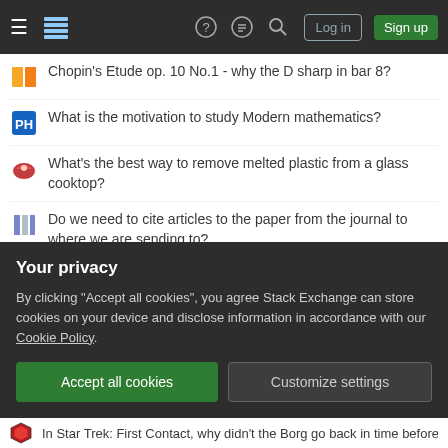Stack Exchange navigation bar with hamburger menu, logo, help, chat, search icons, Log in and Sign up buttons
Chopin's Etude op. 10 No.1 - why the D sharp in bar 8?
What is the motivation to study Modern mathematics?
What's the best way to remove melted plastic from a glass cooktop?
Do we need to cite articles to the paper from the journal to where we are sending to?
Mirrors used for focusing sunlight in outer space - could they be automatically oriented towards the sun using sun sail rudder, like windmill rudder?
Responsa regarding the tooth fairy or alternatives
Does the stress damage from Wish reduce temporary hit points?
Your privacy
By clicking "Accept all cookies", you agree Stack Exchange can store cookies on your device and disclose information in accordance with our Cookie Policy.
Accept all cookies   Customize settings
In Star Trek: First Contact, why didn't the Borg go back in time before